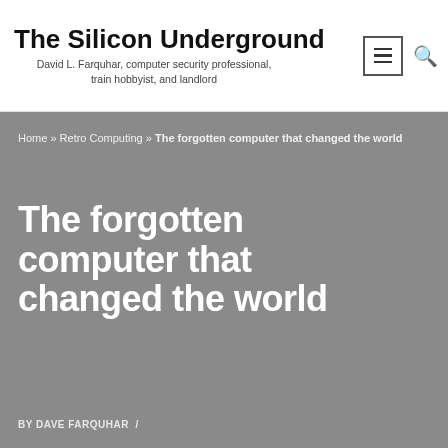The Silicon Underground
David L. Farquhar, computer security professional, train hobbyist, and landlord
Home » Retro Computing » The forgotten computer that changed the world
The forgotten computer that changed the world
BY DAVE FARQUHAR  /